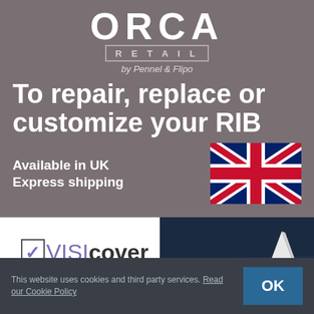[Figure (logo): ORCA RETAIL by Pennel & Flipo logo on grey-brown background]
To repair, replace or customize your RIB
Available in UK
Express shipping
[Figure (illustration): Union Jack (UK flag) illustration]
[Figure (logo): VisiCover logo with purple tick mark in box]
[Figure (photo): Dark sailing/nautical photo with white sail tip visible]
This website uses cookies and third party services. Read our Cookie Policy